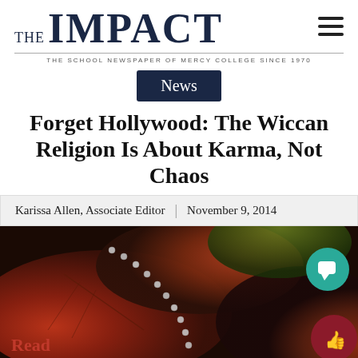THE IMPACT — THE SCHOOL NEWSPAPER OF MERCY COLLEGE SINCE 1970
News
Forget Hollywood: The Wiccan Religion Is About Karma, Not Chaos
Karissa Allen, Associate Editor | November 9, 2014
[Figure (photo): Close-up photo of autumn leaves in red and orange tones with a pearl/bead necklace draped across them. A 'Read' label appears in the bottom-left corner. Two circular buttons overlay the image: a teal chat/comment button and a dark red thumbs-up button.]